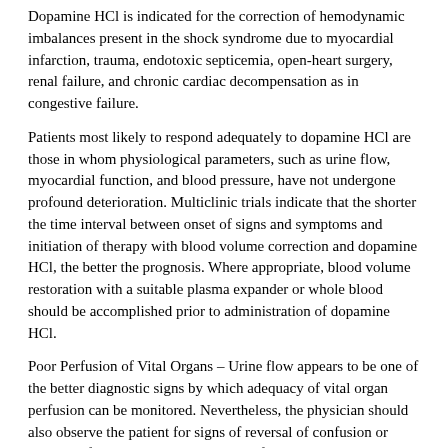Dopamine HCl is indicated for the correction of hemodynamic imbalances present in the shock syndrome due to myocardial infarction, trauma, endotoxic septicemia, open-heart surgery, renal failure, and chronic cardiac decompensation as in congestive failure.
Patients most likely to respond adequately to dopamine HCl are those in whom physiological parameters, such as urine flow, myocardial function, and blood pressure, have not undergone profound deterioration. Multiclinic trials indicate that the shorter the time interval between onset of signs and symptoms and initiation of therapy with blood volume correction and dopamine HCl, the better the prognosis. Where appropriate, blood volume restoration with a suitable plasma expander or whole blood should be accomplished prior to administration of dopamine HCl.
Poor Perfusion of Vital Organs – Urine flow appears to be one of the better diagnostic signs by which adequacy of vital organ perfusion can be monitored. Nevertheless, the physician should also observe the patient for signs of reversal of confusion or reversal of comatose condition. Loss of pallor, increase in toe temperature, and/or adequacy of nail bed capillary filling may also be used as indices of adequate dosage. Clinical studies have shown that when dopamine HCl is administered before urine flow has diminished to levels of approximately 0.3 mL/minute, prognosis is more favorable. Nevertheless, in a number of